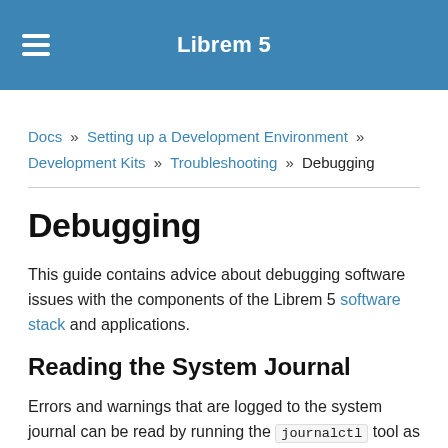Librem 5
Docs » Setting up a Development Environment » Development Kits » Troubleshooting » Debugging
Debugging
This guide contains advice about debugging software issues with the components of the Librem 5 software stack and applications.
Reading the System Journal
Errors and warnings that are logged to the system journal can be read by running the journalctl tool as